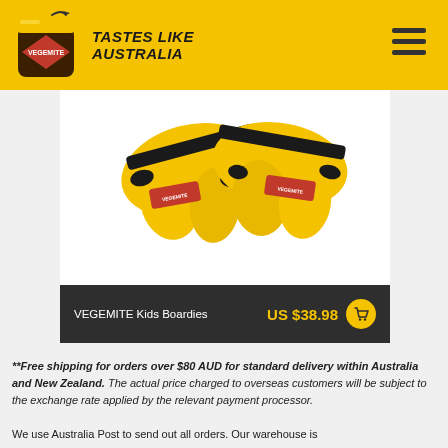[Figure (logo): Vegemite header bar with jar logo and 'Tastes Like Australia' tagline on yellow background, hamburger menu icon on the right]
[Figure (photo): VEGEMITE Kids Boardies product image showing yellow board shorts with Vegemite branding on white background]
VEGEMITE Kids Boardies   US $38.98
**Free shipping for orders over $80 AUD for standard delivery within Australia and New Zealand. The actual price charged to overseas customers will be subject to the exchange rate applied by the relevant payment processor.
We use Australia Post to send out all orders. Our warehouse is